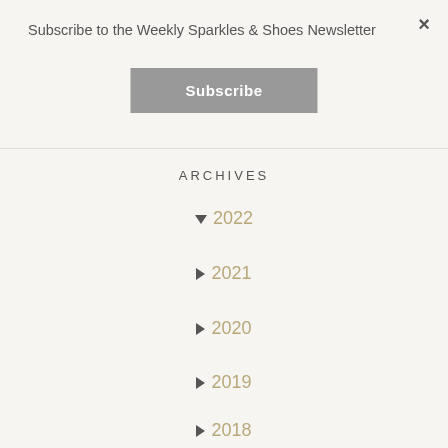×
Subscribe to the Weekly Sparkles & Shoes Newsletter
Subscribe
ARCHIVES
▼ 2022
▶ 2021
▶ 2020
▶ 2019
▶ 2018